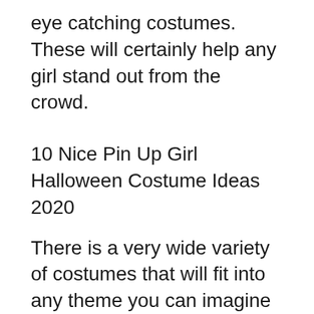eye catching costumes. These will certainly help any girl stand out from the crowd.
10 Nice Pin Up Girl Halloween Costume Ideas 2020
There is a very wide variety of costumes that will fit into any theme you can imagine for a Halloween party. You could choose between a pirate, vampire or witch for a spooky Halloween party. There are also pin up uniforms for the police officer, fire fighter and even pin up girl uniform for the pin up girl at your Halloween party. So whether it’s a Halloween party, a costume party or a fancy dress party, you’re sure to find costumes for every girl on your list.